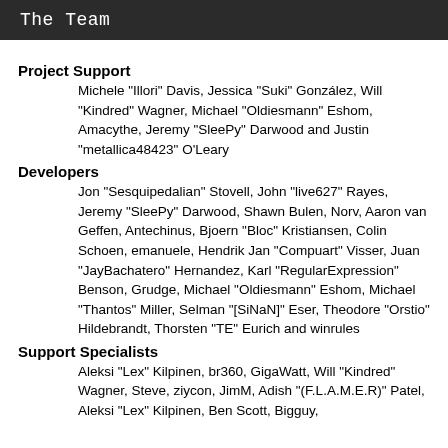The Team
Project Support
Michele "Illori" Davis, Jessica "Suki" González, Will "Kindred" Wagner, Michael "Oldiesmann" Eshom, Amacythe, Jeremy "SleePy" Darwood and Justin "metallica48423" O'Leary
Developers
Jon "Sesquipedalian" Stovell, John "live627" Rayes, Jeremy "SleePy" Darwood, Shawn Bulen, Norv, Aaron van Geffen, Antechinus, Bjoern "Bloc" Kristiansen, Colin Schoen, emanuele, Hendrik Jan "Compuart" Visser, Juan "JayBachatero" Hernandez, Karl "RegularExpression" Benson, Grudge, Michael "Oldiesmann" Eshom, Michael "Thantos" Miller, Selman "[SiNaN]" Eser, Theodore "Orstio" Hildebrandt, Thorsten "TE" Eurich and winrules
Support Specialists
Aleksi "Lex" Kilpinen, br360, GigaWatt, Will "Kindred" Wagner, Steve, ziycon, JimM, Adish "(F.L.A.M.E.R)" Patel, Aleksi "Lex" Kilpinen, Ben Scott, Bigguy,